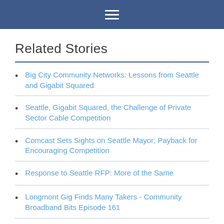≡
Related Stories
Big City Community Networks: Lessons from Seattle and Gigabit Squared
Seattle, Gigabit Squared, the Challenge of Private Sector Cable Competition
Comcast Sets Sights on Seattle Mayor; Payback for Encouraging Competition
Response to Seattle RFP: More of the Same
Longmont Gig Finds Many Takers - Community Broadband Bits Episode 161